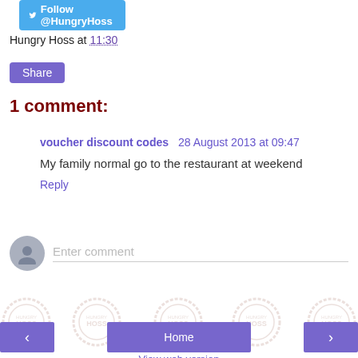[Figure (other): Twitter Follow @HungryHoss button]
Hungry Hoss at 11:30
Share
1 comment:
voucher discount codes  28 August 2013 at 09:47
My family normal go to the restaurant at weekend
Reply
Enter comment
< Home > View web version